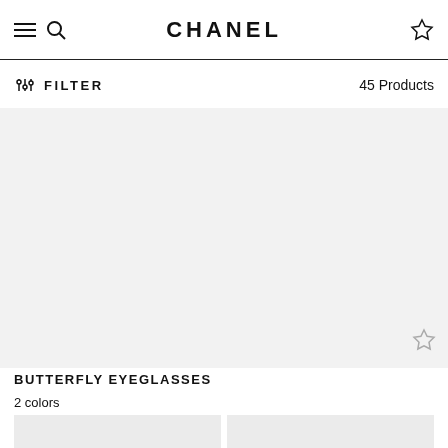CHANEL
FILTER  45 Products
[Figure (photo): Large grey product image area for Chanel Butterfly Eyeglasses]
BUTTERFLY EYEGLASSES
2 colors
[Figure (photo): Two small grey thumbnail product images at the bottom of the page]